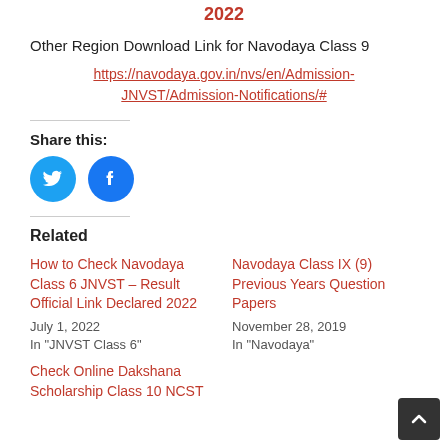2022
Other Region Download Link for Navodaya Class 9
https://navodaya.gov.in/nvs/en/Admission-JNVST/Admission-Notifications/#
Share this:
[Figure (infographic): Twitter and Facebook social share icon buttons (circular, blue)]
Related
How to Check Navodaya Class 6 JNVST – Result Official Link Declared 2022
July 1, 2022
In "JNVST Class 6"
Navodaya Class IX (9) Previous Years Question Papers
November 28, 2019
In "Navodaya"
Check Online Dakshana Scholarship Class 10 NCST